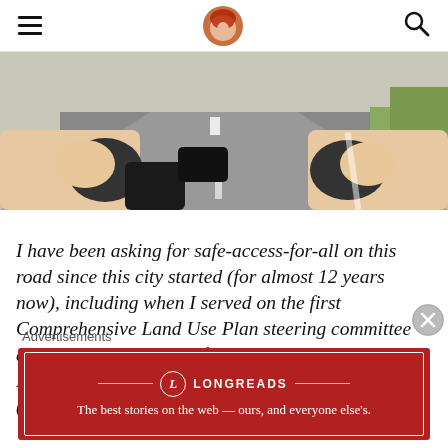Navigation bar with hamburger menu, logo avatar, and search icon
[Figure (photo): Point-of-view photo from a bicycle rider showing handlebars, hands gripping the handlebar with gloves, a road with white lane markings, and greenery on the right side.]
I have been asking for safe-access-for-all on this road since this city started (for almost 12 years now), including when I served on the first Comprehensive Land Use Plan steering committee and ensured being bike friendly was baked into the DNA of our city as a value. It has been frustrating (and life-threatening)
Advertisements
[Figure (other): Longreads advertisement banner. Red background with white border. Logo: circle with L. Brand name: LONGREADS. Tagline: The best stories on the web — ours, and everyone else's.]